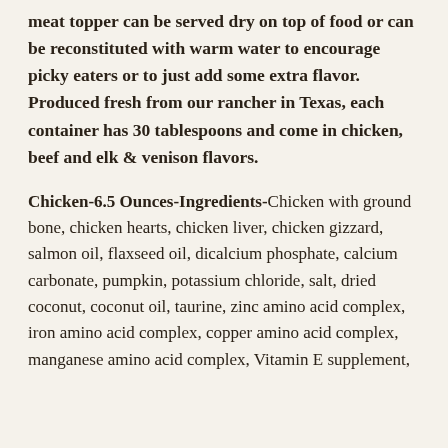meat topper can be served dry on top of food or can be reconstituted with warm water to encourage picky eaters or to just add some extra flavor. Produced fresh from our rancher in Texas, each container has 30 tablespoons and come in chicken, beef and elk & venison flavors.
Chicken-6.5 Ounces-Ingredients- Chicken with ground bone, chicken hearts, chicken liver, chicken gizzard, salmon oil, flaxseed oil, dicalcium phosphate, calcium carbonate, pumpkin, potassium chloride, salt, dried coconut, coconut oil, taurine, zinc amino acid complex, iron amino acid complex, copper amino acid complex, manganese amino acid complex, Vitamin E supplement,